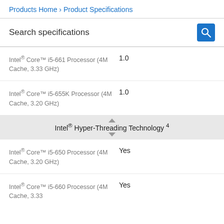Products Home › Product Specifications
Search specifications
Intel® Core™ i5-661 Processor (4M Cache, 3.33 GHz) — 1.0
Intel® Core™ i5-655K Processor (4M Cache, 3.20 GHz) — 1.0
Intel® Hyper-Threading Technology ⁴
Intel® Core™ i5-650 Processor (4M Cache, 3.20 GHz) — Yes
Intel® Core™ i5-660 Processor (4M Cache, 3.33 ... — Yes